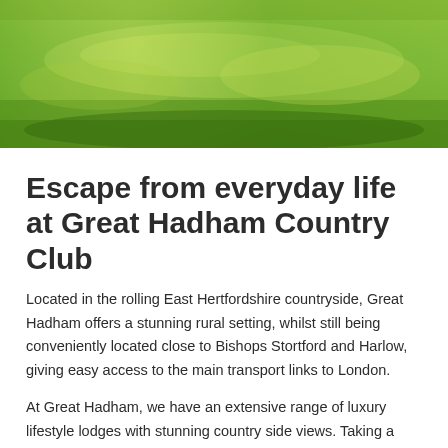[Figure (photo): Wide photograph of green grass lawn/golf course countryside, viewed from above at a low angle. Lush green turf fills the entire frame.]
Escape from everyday life at Great Hadham Country Club
Located in the rolling East Hertfordshire countryside, Great Hadham offers a stunning rural setting, whilst still being conveniently located close to Bishops Stortford and Harlow, giving easy access to the main transport links to London.
At Great Hadham, we have an extensive range of luxury lifestyle lodges with stunning country side views. Taking a tour around one of our individually designed show homes will prove just how attractive country side living can be. Offering a